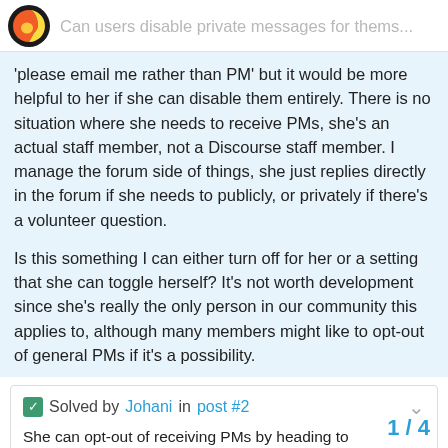Can users disable private messages for thems...
'please email me rather than PM' but it would be more helpful to her if she can disable them entirely. There is no situation where she needs to receive PMs, she's an actual staff member, not a Discourse staff member. I manage the forum side of things, she just replies directly in the forum if she needs to publicly, or privately if there's a volunteer question.
Is this something I can either turn off for her or a setting that she can toggle herself? It's not worth development since she's really the only person in our community this applies to, although many members might like to opt-out of general PMs if it's a possibility.
Solved by Johani in post #2
She can opt-out of receiving PMs by heading to http://your.site.com/my/preferences/notifications and unticking this checkbox [PM0002] Once she saves that preference, non-staff members on the site will not be able to send her PMs. Instead they'll see this e... staff members wi...
1 / 4